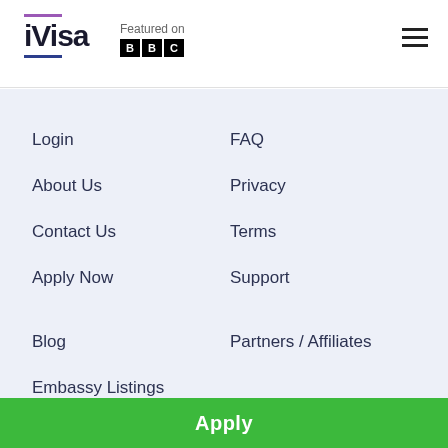iVisa — Featured on BBC
Login
FAQ
About Us
Privacy
Contact Us
Terms
Apply Now
Support
Blog
Partners / Affiliates
Embassy Listings
Apply